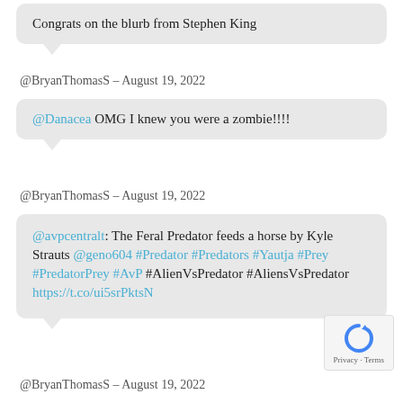Congrats on the blurb from Stephen King
@BryanThomasS - August 19, 2022
@Danacea OMG I knew you were a zombie!!!!
@BryanThomasS - August 19, 2022
@avpcentralt: The Feral Predator feeds a horse by Kyle Strauts @geno604 #Predator #Predators #Yautja #Prey #PredatorPrey #AvP #AlienVsPredator #AliensVsPredator https://t.co/ui5srPktsN
@BryanThomasS - August 19, 2022